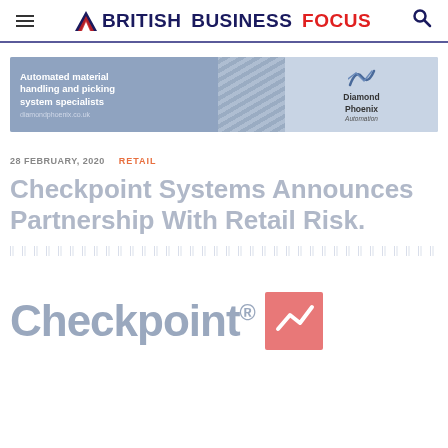BRITISH BUSINESS FOCUS
[Figure (illustration): Diamond Phoenix Automation advertisement banner for automated material handling and picking system specialists. diamondphoenix.co.uk]
28 FEBRUARY, 2020  RETAIL
Checkpoint Systems Announces Partnership With Retail Risk.
[Figure (logo): Checkpoint logo with registered trademark symbol and red square graphic mark]